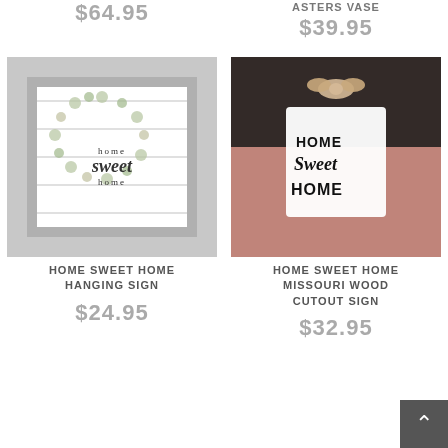$64.95
ASTERS VASE
$39.95
[Figure (photo): Gray background product photo of a 'Home Sweet Home' hanging sign with wreath of leaves and berries on a shiplap-style white board with gray frame]
[Figure (photo): Product photo of a 'Home Sweet Home Missouri Wood Cutout Sign' in white, displayed against a brick background with a decorative bow]
HOME SWEET HOME HANGING SIGN
$24.95
HOME SWEET HOME MISSOURI WOOD CUTOUT SIGN
$32.95